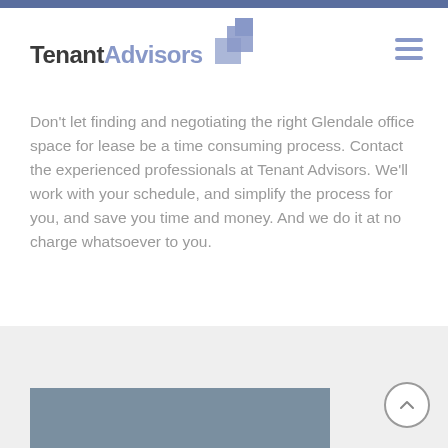[Figure (logo): Tenant Advisors logo with stylized square icon and brand name]
Don't let finding and negotiating the right Glendale office space for lease be a time consuming process. Contact the experienced professionals at Tenant Advisors. We'll work with your schedule, and simplify the process for you, and save you time and money. And we do it at no charge whatsoever to you.
View Larger Map
[Figure (other): Gray section at bottom with dark gray box partially visible]